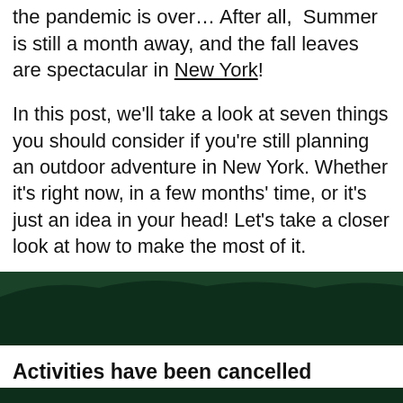the pandemic is over… After all, Summer is still a month away, and the fall leaves are spectacular in New York!
In this post, we'll take a look at seven things you should consider if you're still planning an outdoor adventure in New York. Whether it's right now, in a few months' time, or it's just an idea in your head! Let's take a closer look at how to make the most of it.
[Figure (photo): Aerial view of forested mountains with blue sky, showing green tree-covered slopes]
Activities have been cancelled
[Figure (photo): Forested mountain landscape continuing below the section header]
First of all, we should get some housekeeping out of the way. Across the state, many activities have been cancelled due to Coronavirus. This means that if you choose to travel imminently, it's unlikely you'll be able to...